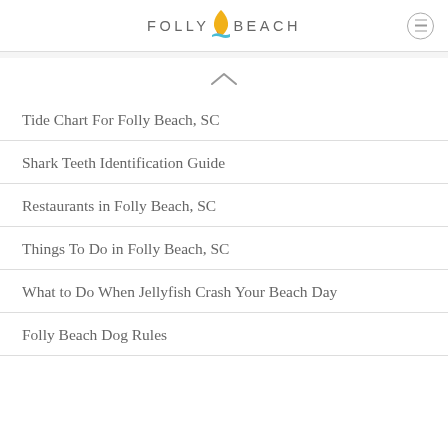Folly Beach
Tide Chart For Folly Beach, SC
Shark Teeth Identification Guide
Restaurants in Folly Beach, SC
Things To Do in Folly Beach, SC
What to Do When Jellyfish Crash Your Beach Day
Folly Beach Dog Rules